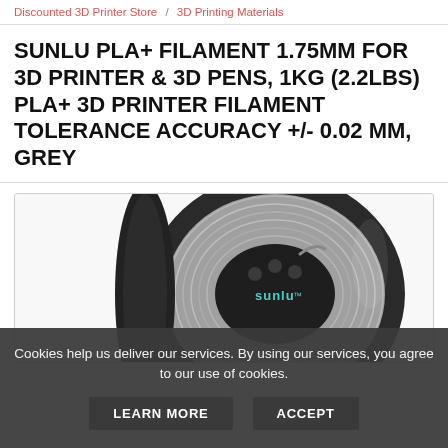Discounted 3D Printer Store / 3D Printing Materials
SUNLU PLA+ FILAMENT 1.75MM FOR 3D PRINTER & 3D PENS, 1KG (2.2LBS) PLA+ 3D PRINTER FILAMENT TOLERANCE ACCURACY +/- 0.02 MM, GREY
[Figure (photo): Photo of a grey SUNLU PLA+ filament spool on a white background, showing the spool from slightly above with the SUNLU logo visible on the hub.]
Cookies help us deliver our services. By using our services, you agree to our use of cookies.
LEARN MORE   ACCEPT